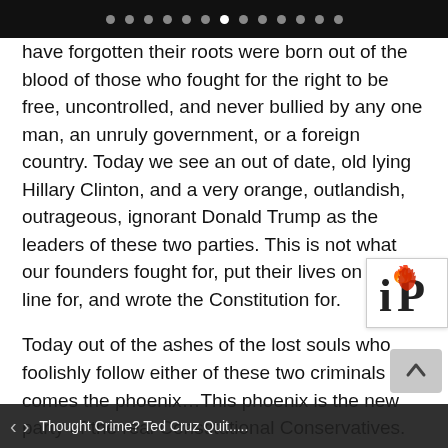• • • • • • • • • • • • •
have forgotten their roots were born out of the blood of those who fought for the right to be free, uncontrolled, and never bullied by any one man, an unruly government, or a foreign country. Today we see an out of date, old lying Hillary Clinton, and a very orange, outlandish, outrageous, ignorant Donald Trump as the leaders of these two parties. This is not what our founders fought for, put their lives on the line for, and wrote the Constitution for.
[Figure (logo): iP logo with flame icon]
Today out of the ashes of the lost souls who foolishly follow either of these two criminals comes the phoenix…This phoenix is the new party of the real Constitutional Conservatives. This is the party of the common man, and woman. This is the party of your neighbors, coworkers, and bosses. IT is built upon the planks of the 13 original stripes of the Old Glory. The coveted reforms are bred through the blood and sweat of all 50 states common
Thought Crime? Ted Cruz Quit....